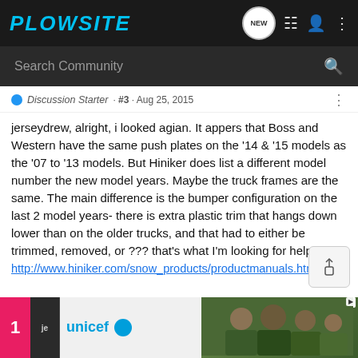PLOWSITE
Search Community
Discussion Starter · #3 · Aug 25, 2015
jerseydrew, alright, i looked agian. It appers that Boss and Western have the same push plates on the '14 & '15 models as the '07 to '13 models. But Hiniker does list a different model number the new model years. Maybe the truck frames are the same. The main difference is the bumper configuration on the last 2 model years- there is extra plastic trim that hangs down lower than on the older trucks, and that had to either be trimmed, removed, or ??? that's what I'm looking for help with. http://www.hiniker.com/snow_products/productmanuals.html
[Figure (screenshot): Advertisement banner with UNICEF logo and children photo]